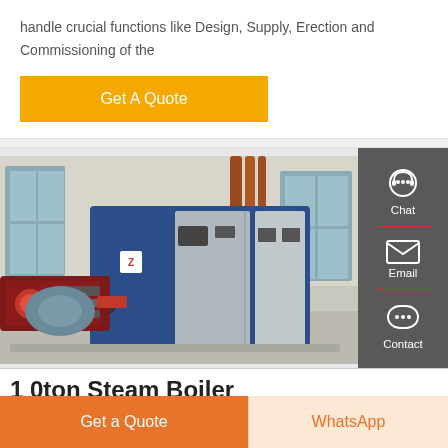handle crucial functions like Design, Supply, Erection and Commissioning of the
Get A Quote
[Figure (photo): Industrial steam boiler unit - large blue and silver metal container with control panel, red burner assembly on the left, copper/red pipes at the back, photographed in a factory/workshop setting]
Chat
Email
Contact
1 0ton Steam Boiler
Get a Quote
WhatsApp